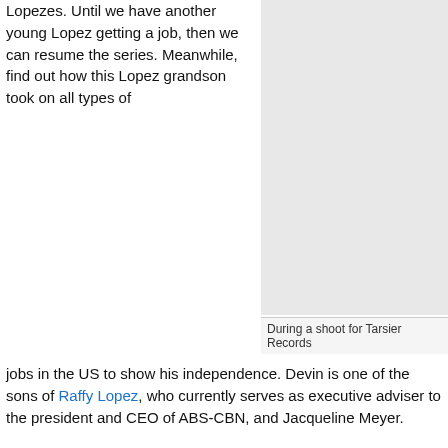Lopezes. Until we have another young Lopez getting a job, then we can resume the series. Meanwhile, find out how this Lopez grandson took on all types of jobs in the US to show his independence. Devin is one of the sons of Raffy Lopez, who currently serves as executive adviser to the president and CEO of ABS-CBN, and Jacqueline Meyer.
[Figure (photo): Photo placeholder - shoot for Tarsier Records]
During a shoot for Tarsier Records
Kindly state your full name and nickname, educational background and hobbies.
My name is Devin Thomas Moore Lopez. I was born and raised in the California Bay Area and attended The Nueva School from kindergarten through eighth grade. I graduated from Aragon HS in 2008 and went on to get my Bachelor of Arts in Ethnomusicology from UC Santa Barbara in 2013.
I also did two certificate programs during and after my studies at UCSB—one in music production from Berklee Online and the other in audio engineering from Musicians Institute in Los Angeles, CA. My hobbies include snowboarding, scuba diving, watching basketball and MMA, and playing